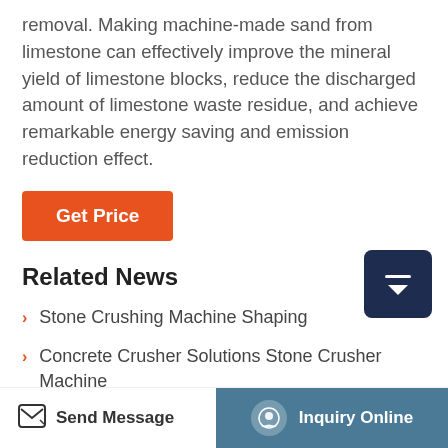removal. Making machine-made sand from limestone can effectively improve the mineral yield of limestone blocks, reduce the discharged amount of limestone waste residue, and achieve remarkable energy saving and emission reduction effect.
[Figure (other): Orange 'Get Price' button]
Related News
[Figure (other): Dark navy scroll-to-top button with upward arrow and line]
Stone Crushing Machine Shaping
Concrete Crusher Solutions Stone Crusher Machine
Stone Crushing Equipments South Africa
World S Diamond Rock Crusher (partial, cut off)
Send Message   Inquiry Online